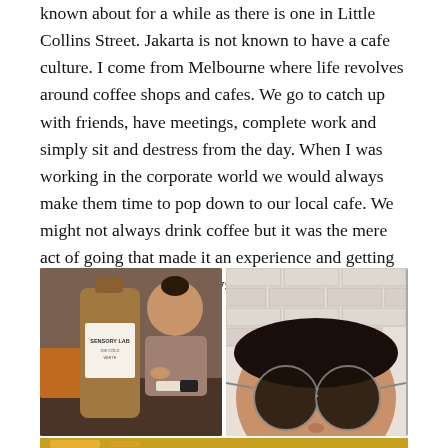known about for a while as there is one in Little Collins Street. Jakarta is not known to have a cafe culture. I come from Melbourne where life revolves around coffee shops and cafes. We go to catch up with friends, have meetings, complete work and simply sit and destress from the day. When I was working in the corporate world we would always make them time to pop down to our local cafe. We might not always drink coffee but it was the mere act of going that made it an experience and getting out of the office was aways a bonus 🙂
[Figure (photo): Left photo: A woman sitting at a cafe table with a coffee cup, and a large bottle labeled 'SENSORY LAB ICE COLD WHITE' in the foreground. Right photo: Close-up of a person wearing large round sunglasses, brick wall background.]
[Figure (photo): Bottom partial photo: appears to show a drink or food item, partially visible at bottom edge of page.]